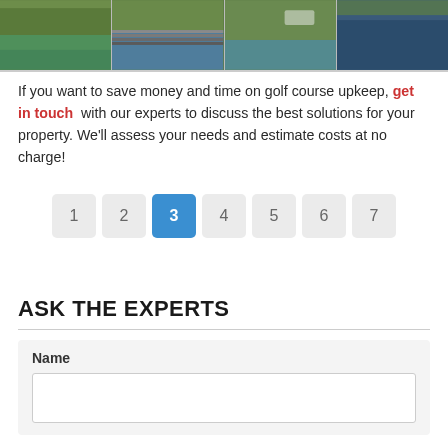[Figure (photo): Four photo cells showing golf course water features and green landscape]
If you want to save money and time on golf course upkeep, get in touch with our experts to discuss the best solutions for your property. We’ll assess your needs and estimate costs at no charge!
[Figure (other): Pagination control showing page numbers 1 through 7, with page 3 highlighted in blue]
ASK THE EXPERTS
Name